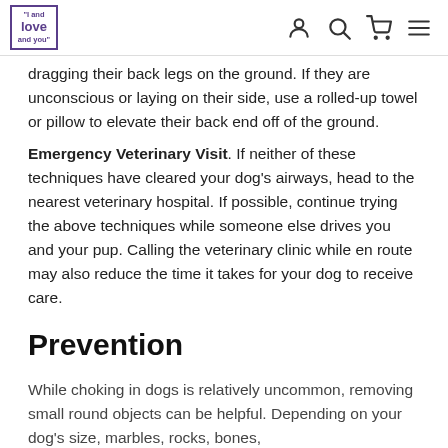"I and love and you" [logo with navigation icons]
dragging their back legs on the ground. If they are unconscious or laying on their side, use a rolled-up towel or pillow to elevate their back end off of the ground.
Emergency Veterinary Visit. If neither of these techniques have cleared your dog's airways, head to the nearest veterinary hospital. If possible, continue trying the above techniques while someone else drives you and your pup. Calling the veterinary clinic while en route may also reduce the time it takes for your dog to receive care.
Prevention
While choking in dogs is relatively uncommon, removing small round objects can be helpful. Depending on your dog's size, marbles, rocks, bones,